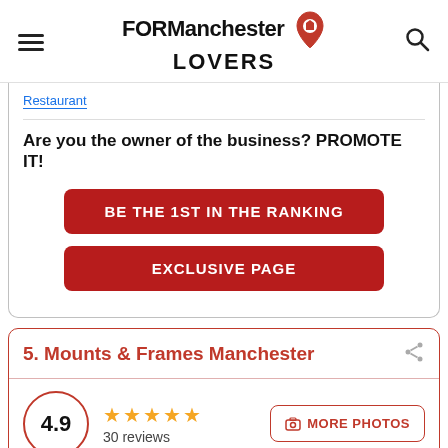FORManchester LOVERS
Restaurant
Are you the owner of the business? PROMOTE IT!
BE THE 1ST IN THE RANKING
EXCLUSIVE PAGE
5. Mounts & Frames Manchester
4.9
30 reviews
MORE PHOTOS
Location